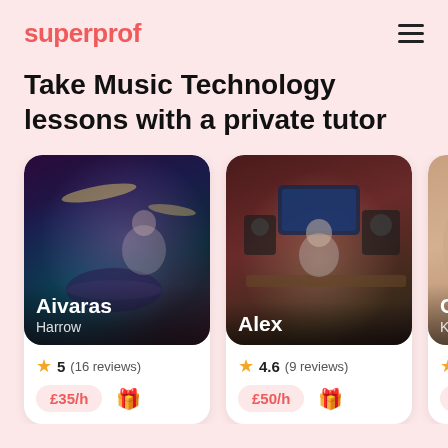superprof
Take Music Technology lessons with a private tutor
[Figure (photo): Tutor Aivaras playing drums in dark blue/purple lighting, Harrow]
Aivaras
Harrow
5 (16 reviews)
£35/h
[Figure (photo): Tutor Alex sitting at a music production studio desk with monitors, Kingston area]
Alex
4.6 (9 reviews)
£50/h
[Figure (photo): Tutor Chris smiling, close-up portrait, Kingston]
Chris
Kingston
5 (7 reviews)
£35/h